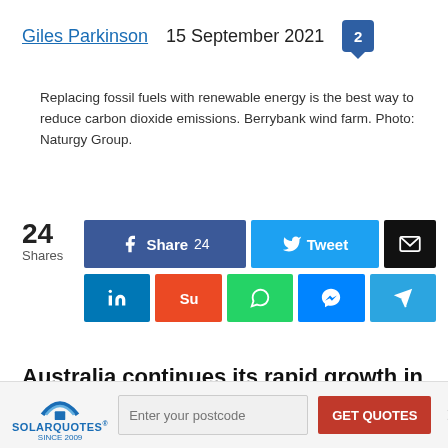Giles Parkinson   15 September 2021   2
Replacing fossil fuels with renewable energy is the best way to reduce carbon dioxide emissions. Berrybank wind farm. Photo: Naturgy Group.
24 Shares
[Figure (other): Social sharing buttons: Facebook Share 24, Tweet, Email, LinkedIn, StumbleUpon, WhatsApp, Messenger, Telegram]
Australia continues its rapid growth in wind and
[Figure (other): SolarQuotes widget with logo, postcode input field, and GET QUOTES button]